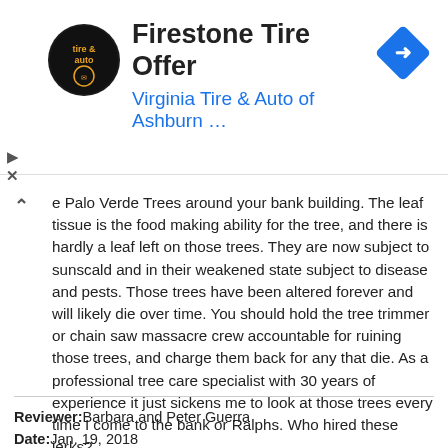[Figure (screenshot): Advertisement banner for Firestone Tire Offer from Virginia Tire & Auto of Ashburn with company logo and navigation icon]
e Palo Verde Trees around your bank building. The leaf tissue is the food making ability for the tree, and there is hardly a leaf left on those trees. They are now subject to sunscald and in their weakened state subject to disease and pests. Those trees have been altered forever and will likely die over time. You should hold the tree trimmer or chain saw massacre crew accountable for ruining those trees, and charge them back for any that die. As a professional tree care specialist with 30 years of experience it just sickens me to look at those trees every time I come to the bank or Ralphs. Who hired these jerks?
Reviewer: Barbara and Peter Guerra
Date: Jan. 19, 2018
Location Reviewed: Wells Fargo Bank: Venice Island Tamiami Branch - Venice, FL